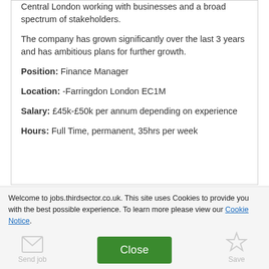Central London working with businesses and a broad spectrum of stakeholders.
The company has grown significantly over the last 3 years and has ambitious plans for further growth.
Position: Finance Manager
Location: -Farringdon London EC1M
Salary: £45k-£50k per annum depending on experience
Hours: Full Time, permanent, 35hrs per week
Welcome to jobs.thirdsector.co.uk. This site uses Cookies to provide you with the best possible experience. To learn more please view our Cookie Notice.